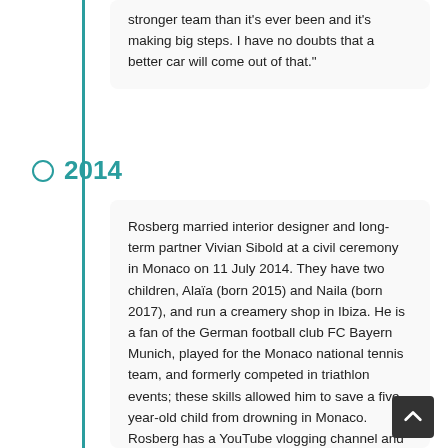stronger team than it's ever been and it's making big steps. I have no doubts that a better car will come out of that."
2014
Rosberg married interior designer and long-term partner Vivian Sibold at a civil ceremony in Monaco on 11 July 2014. They have two children, Alaïa (born 2015) and Naila (born 2017), and run a creamery shop in Ibiza. He is a fan of the German football club FC Bayern Munich, played for the Monaco national tennis team, and formerly competed in triathlon events; these skills allowed him to save a five-year-old child from drowning in Monaco. Rosberg has a YouTube vlogging channel and hosts the podcast "Beyond Victory" in which he discusses human performance and development with his guests.
Rosberg continued to drive for Mercedes in 2014 with Lewis Hamilton again as his